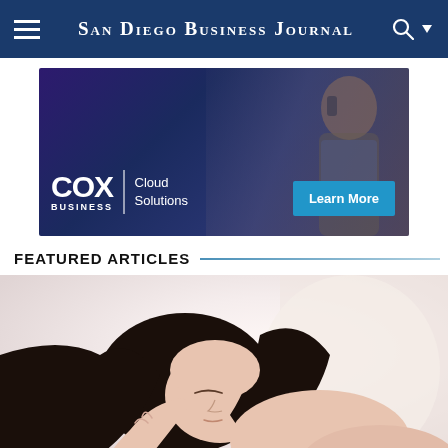San Diego Business Journal
[Figure (photo): COX Business Cloud Solutions advertisement banner with a man on the phone in the background and a 'Learn More' button]
FEATURED ARTICLES
[Figure (photo): Woman sleeping peacefully, used as article thumbnail image]